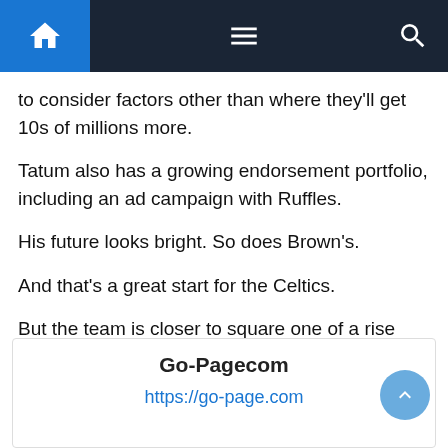Navigation bar with home, menu, and search icons
to consider factors other than where they'll get 10s of millions more.
Tatum also has a growing endorsement portfolio, including an ad campaign with Ruffles.
His future looks bright. So does Brown's.
And that's a great start for the Celtics.
But the team is closer to square one of a rise than anyone would've expected.
Go-Pagecom
https://go-page.com